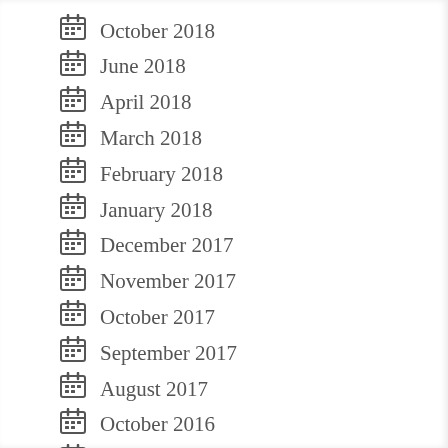October 2018
June 2018
April 2018
March 2018
February 2018
January 2018
December 2017
November 2017
October 2017
September 2017
August 2017
October 2016
September 2016
August 2016
July 2016